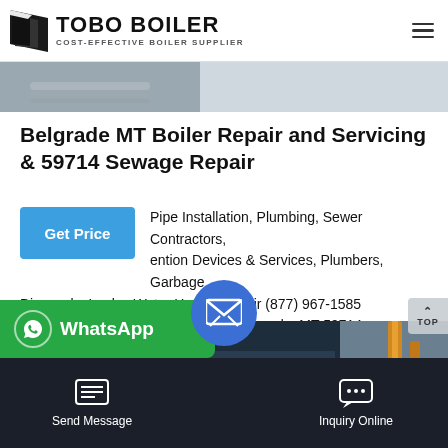TOBO BOILER — COST-EFFECTIVE BOILER SUPPLIER
[Figure (photo): Header hero image strip showing industrial equipment]
Belgrade MT Boiler Repair and Servicing & 59714 Sewage Repair
Pipe Installation, Plumbing, Sewer Contractors, ention Devices & Services, Plumbers, Garbage Disposals, Leaks, Water Heater Repair (877) 967-1585 Professional Plumbing Services in Belgrade, MT 59714
[Figure (photo): Industrial boiler room with orange/copper pipes and dark blue industrial boiler equipment]
WhatsApp
Send Message | Inquiry Online